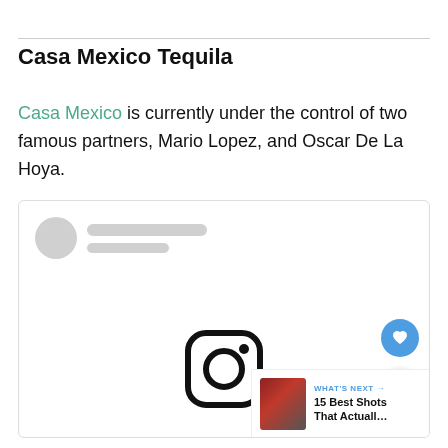Casa Mexico Tequila
Casa Mexico is currently under the control of two famous partners, Mario Lopez, and Oscar De La Hoya.
[Figure (screenshot): Embedded social media card (Instagram) with a blurred/loading placeholder showing avatar, name lines, a heart/like button, a share button, and an Instagram camera icon at the bottom. A 'What's Next' preview shows '15 Best Shots That Actuall...']